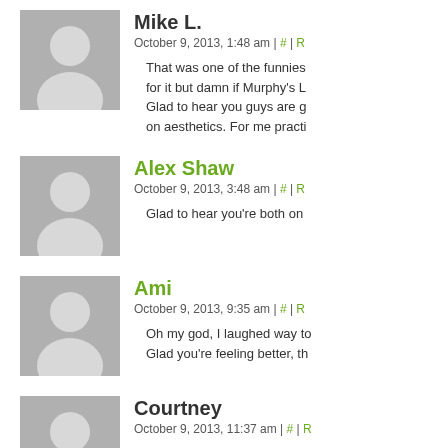Mike L.
October 9, 2013, 1:48 am | # | R
That was one of the funnies for it but damn if Murphy's L Glad to hear you guys are g on aesthetics. For me practi
Alex Shaw
October 9, 2013, 3:48 am | # | R
Glad to hear you're both on
Ami
October 9, 2013, 9:35 am | # | R
Oh my god, I laughed way t Glad you're feeling better, th
Courtney
October 9, 2013, 11:37 am | # | R
I love when you refer to K a you're able to call her that.
Corey Schleder